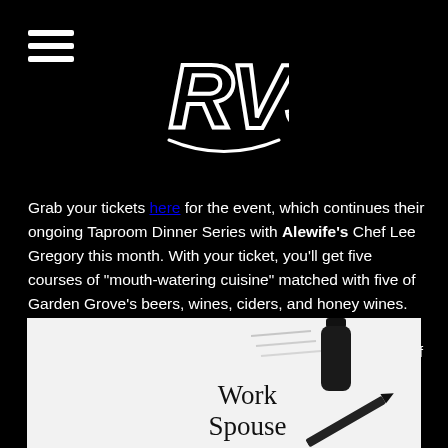RVS logo with hamburger menu icon
Grab your tickets here for the event, which continues their ongoing Taproom Dinner Series with Alewife's Chef Lee Gregory this month. With your ticket, you'll get five courses of “mouth-watering cuisine” matched with five of Garden Grove’s beers, wines, ciders, and honey wines. And an extra note from Garden Grove — these events usually sell out, so you’ll want to grab tickets in advance if you plan to attend.
[Figure (photo): A white surface with a black mug/bottle, a pen, and handwritten text reading 'Work Spouse']